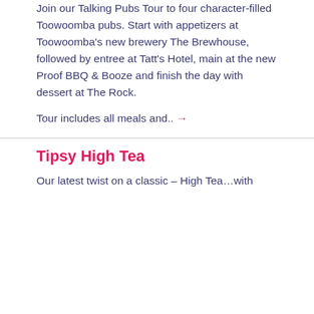Join our Talking Pubs Tour to four character-filled Toowoomba pubs. Start with appetizers at Toowoomba's new brewery The Brewhouse, followed by entree at Tatt's Hotel, main at the new Proof BBQ & Booze and finish the day with dessert at The Rock.
Tour includes all meals and.. →
[Figure (photo): A food spread on a table with yellow tulips in a vase on the left, olives in a bowl, bread sticks, various fruits, strawberries, and flowers arranged on a wooden surface.]
Tipsy High Tea
Our latest twist on a classic – High Tea…with